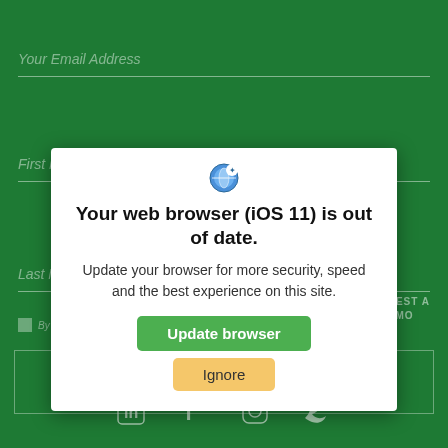[Figure (screenshot): Dark green webpage background showing a newsletter subscription form with fields for email address, first name, last name, and a subscribe button. Social media icons (LinkedIn, Facebook, Instagram, Twitter) at the bottom.]
[Figure (other): Browser update warning modal dialog with iOS browser icon at top, bold title 'Your web browser (iOS 11) is out of date.', explanatory text, a green 'Update browser' button, and a yellow 'Ignore' button.]